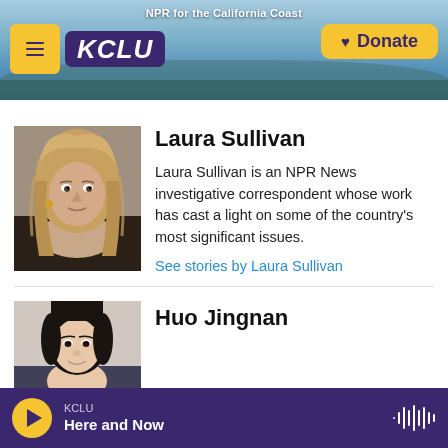NPR for the California Coast — KCLU — Donate
[Figure (photo): Headshot of Laura Sullivan, a woman with long blonde hair and gold earrings, wearing a black outfit]
Laura Sullivan
Laura Sullivan is an NPR News investigative correspondent whose work has cast a light on some of the country's most significant issues.
See stories by Laura Sullivan
[Figure (photo): Headshot of Huo Jingnan, a young Asian woman smiling]
Huo Jingnan
KCLU — Here and Now